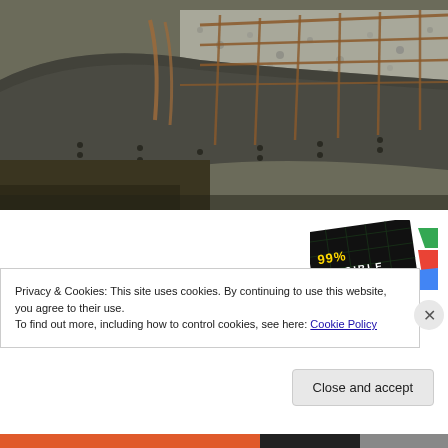[Figure (photo): Construction site photo showing circular concrete formwork with metal rebar reinforcement grid, surrounded by gravel and soil. The concrete wall curves around in a circular shape with rusty rebar visible overhead.]
[Figure (logo): 99% Invisible podcast logo — black card with yellow and white text '99% INVISIBLE' on a dark grid background, with Google Podcasts colorful logo (green, red, blue shapes) to the right.]
Privacy & Cookies: This site uses cookies. By continuing to use this website, you agree to their use.
To find out more, including how to control cookies, see here: Cookie Policy
Close and accept